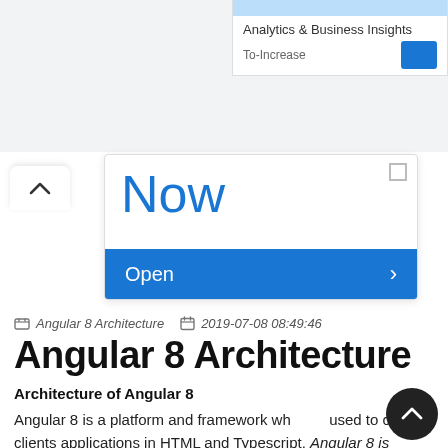[Figure (screenshot): Top navigation bar showing dropdown with 'Analytics & Business Insights' label, 'To-Increase' sub-label, and a blue button on the right side]
[Figure (screenshot): A UI card showing the word 'Now' in large blue text with an 'Open >' blue button below, and a chevron-up arrow on the left]
Angular 8 Architecture  2019-07-08 08:49:46
Angular 8 Architecture
Architecture of Angular 8
Angular 8 is a platform and framework wh... used to create clients applications in HTML and Typescript. Angular 8 is written in Typescript.